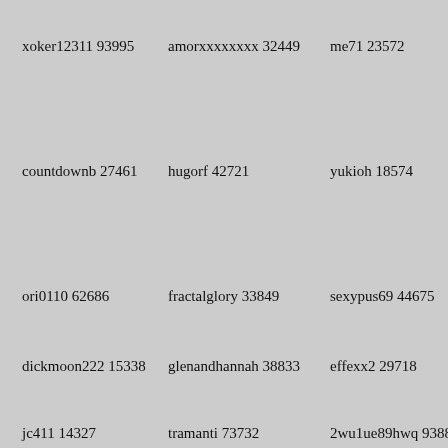xoker12311 93995
amorxxxxxxxx 32449
me71 23572
countdownb 27461
hugorf 42721
yukioh 18574
ori0110 62686
fractalglory 33849
sexypus69 44675
dickmoon222 15338
glenandhannah 38833
effexx2 29718
jc411 14327
tramanti 73732
2wu1ue89hwq 93886